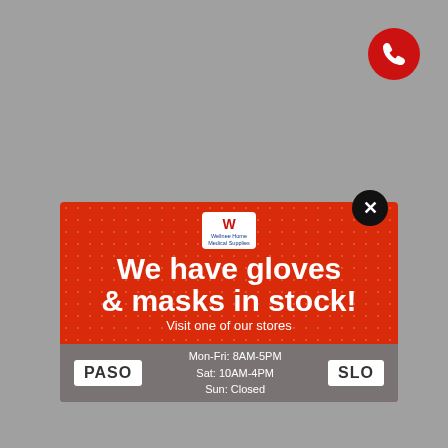[Figure (logo): Red phone icon button circle top right]
[Figure (infographic): Advertisement card for Wellnee Home Medical Supplies on red background with dot pattern. Text: We have gloves & masks in stock! Visit one of our stores. Bottom bar shows PASO and SLO locations with hours Mon-Fri: 8AM-5PM, Sat: 10AM-4PM, Sun: Closed]
We have gloves & masks in stock!
Visit one of our stores
Mon-Fri: 8AM-5PM
Sat: 10AM-4PM
Sun: Closed
PASO
SLO